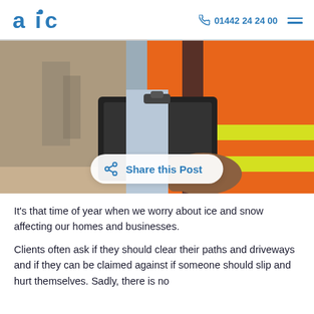aic  01442 24 24 00
[Figure (photo): A worker in an orange high-visibility vest holding a clipboard, with industrial background. A 'Share this Post' button overlaid at the bottom.]
It's that time of year when we worry about ice and snow affecting our homes and businesses.
Clients often ask if they should clear their paths and driveways and if they can be claimed against if someone should slip and hurt themselves. Sadly, there is no